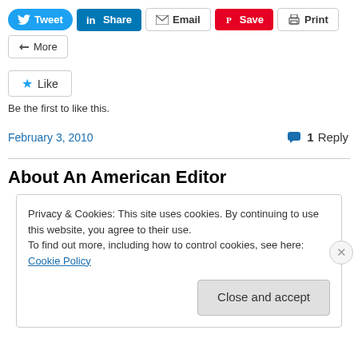[Figure (screenshot): Social sharing buttons: Tweet (Twitter), Share (LinkedIn), Email, Save (Pinterest), Print, More]
[Figure (screenshot): Like button with star icon]
Be the first to like this.
February 3, 2010
1 Reply
About An American Editor
Privacy & Cookies: This site uses cookies. By continuing to use this website, you agree to their use.
To find out more, including how to control cookies, see here: Cookie Policy
Close and accept